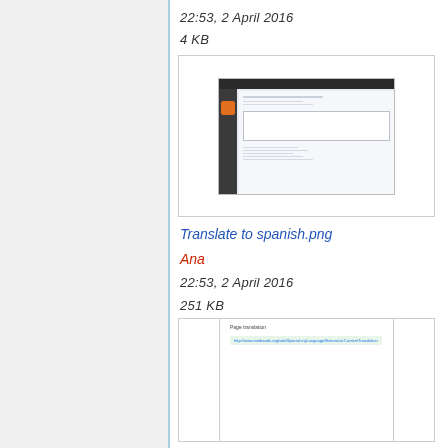22:53, 2 April 2016
4 KB
[Figure (screenshot): Screenshot of a web application interface showing a sidebar with navigation icons and a content area with form fields and data tables.]
Translate to spanish.png
Ana
22:53, 2 April 2016
251 KB
[Figure (screenshot): Screenshot of a white page showing a 'Page translation' heading and a green highlighted link or text below it.]